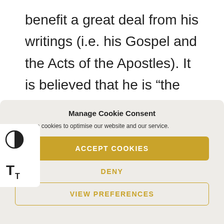benefit a great deal from his writings (i.e. his Gospel and the Acts of the Apostles). It is believed that he is “the beloved physician” from Saint Paul’s letter to the Colossians, and, as a result, he is the patron of physicians and surgeons.
Manage Cookie Consent
use cookies to optimise our website and our service.
ACCEPT COOKIES
DENY
VIEW PREFERENCES